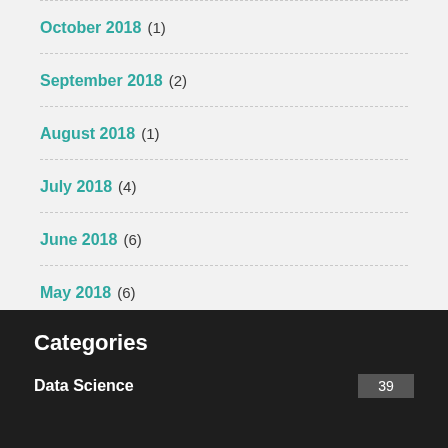October 2018 (1)
September 2018 (2)
August 2018 (1)
July 2018 (4)
June 2018 (6)
May 2018 (6)
Categories
Data Science 39